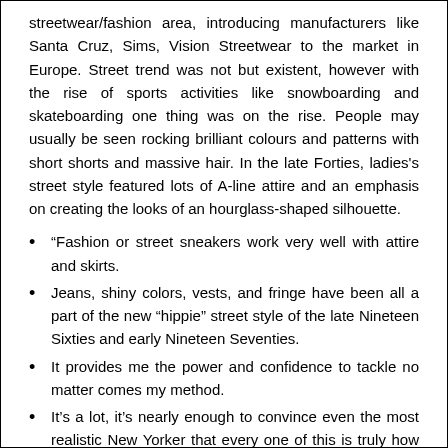streetwear/fashion area, introducing manufacturers like Santa Cruz, Sims, Vision Streetwear to the market in Europe. Street trend was not but existent, however with the rise of sports activities like snowboarding and skateboarding one thing was on the rise. People may usually be seen rocking brilliant colours and patterns with short shorts and massive hair. In the late Forties, ladies's street style featured lots of A-line attire and an emphasis on creating the looks of an hourglass-shaped silhouette.
“Fashion or street sneakers work very well with attire and skirts.
Jeans, shiny colors, vests, and fringe have been all a part of the new “hippie” street style of the late Nineteen Sixties and early Nineteen Seventies.
It provides me the power and confidence to tackle no matter comes my method.
It’s a lot, it’s nearly enough to convince even the most realistic New Yorker that every one of this is truly how life is.
You can see this pattern in the tight becoming jeans